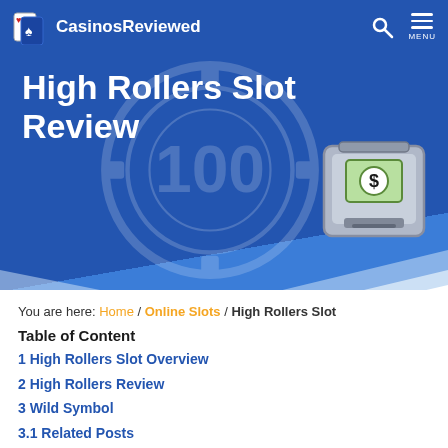CasinosReviewed
High Rollers Slot Review
You are here: Home / Online Slots / High Rollers Slot
Table of Content
1 High Rollers Slot Overview
2 High Rollers Review
3 Wild Symbol
3.1 Related Posts
| Software | Real Time Gaming | Coin Values | 0.05 to 5.00 |
| --- | --- | --- | --- |